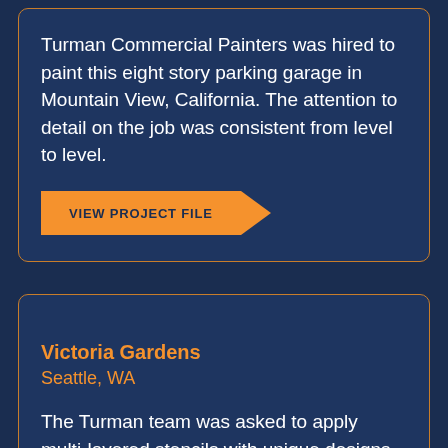Turman Commercial Painters was hired to paint this eight story parking garage in Mountain View, California. The attention to detail on the job was consistent from level to level.
[Figure (other): Orange arrow-shaped button labeled VIEW PROJECT FILE]
Victoria Gardens
Seattle, WA
The Turman team was asked to apply multi-layered stencils with unique designs at the Victoria Gardens shopping center in Rancho Cucamonga California using traffic paint